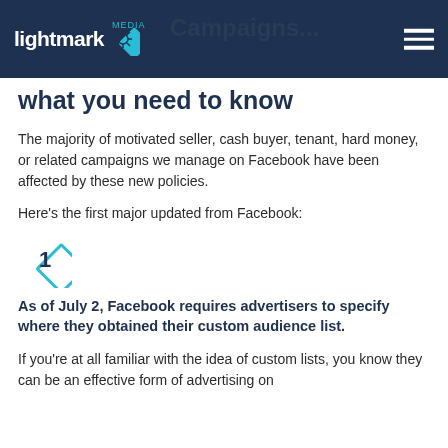lightmark media | Campaigns... what you need to know
what you need to know
The majority of motivated seller, cash buyer, tenant, hard money, or related campaigns we manage on Facebook have been affected by these new policies.
Here's the first major updated from Facebook:
1. As of July 2, Facebook requires advertisers to specify where they obtained their custom audience list.
If you're at all familiar with the idea of custom lists, you know they can be an effective form of advertising on